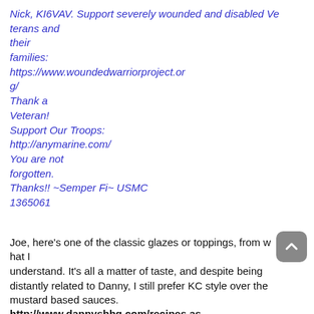Nick, KI6VAV. Support severely wounded and disabled Veterans and their families: https://www.woundedwarriorproject.org/ Thank a Veteran! Support Our Troops: http://anymarine.com/ You are not forgotten. Thanks!! ~Semper Fi~ USMC 1365061
Joe, here's one of the classic glazes or toppings, from what I understand. It's all a matter of taste, and despite being distantly related to Danny, I still prefer KC style over the mustard based sauces. http://www.dannysbbq.com/recipes.asp?rid=9